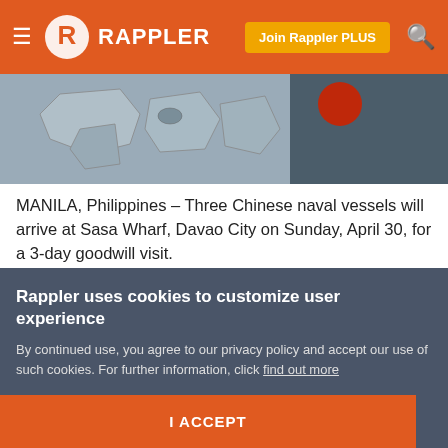Rappler — Join Rappler PLUS
[Figure (map): Partial map image showing Philippine islands in grey tones with dark overlay on right side]
MANILA, Philippines – Three Chinese naval vessels will arrive at Sasa Wharf, Davao City on Sunday, April 30, for a 3-day goodwill visit.
The Philippine Navy said on Thursday, April 27, that a welcome ceremony and a port briefing will be conducted upon arrival of the Chinese vessels.
Rappler uses cookies to customize user experience
By continued use, you agree to our privacy policy and accept our use of such cookies. For further information, click find out more
I ACCEPT